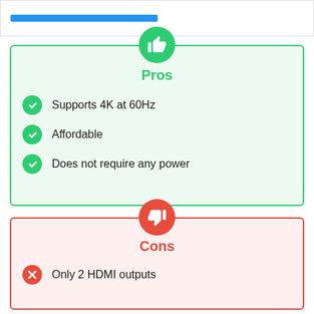[Figure (infographic): Blue progress bar at top of page]
Pros
Supports 4K at 60Hz
Affordable
Does not require any power
Cons
Only 2 HDMI outputs